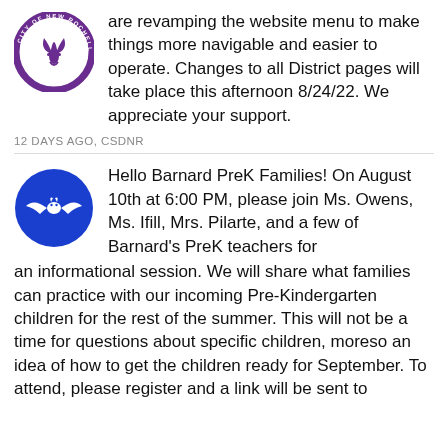[Figure (logo): City of New Rochelle school district logo — circular badge with fleur-de-lis, purple and white]
are revamping the website menu to make things more navigable and easier to operate. Changes to all District pages will take place this afternoon 8/24/22. We appreciate your support.
12 DAYS AGO, CSDNR
[Figure (logo): Barnard school logo — blue circle with white bat silhouette]
Hello Barnard PreK Families! On August 10th at 6:00 PM, please join Ms. Owens, Ms. Ifill, Mrs. Pilarte, and a few of Barnard's PreK teachers for an informational session. We will share what families can practice with our incoming Pre-Kindergarten children for the rest of the summer. This will not be a time for questions about specific children, moreso an idea of how to get the children ready for September. To attend, please register and a link will be sent to